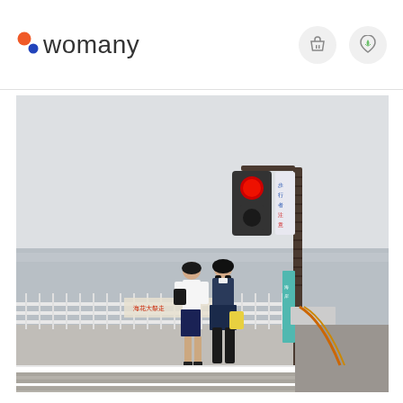womany
[Figure (photo): Two students, one in a white shirt and navy skirt, the other in a school uniform, stand at a seaside crosswalk in Japan. A traffic light pole is visible on the right with a red signal lit. The ocean and hazy sky form the background. Signage in Japanese and a white railing line the waterfront promenade.]